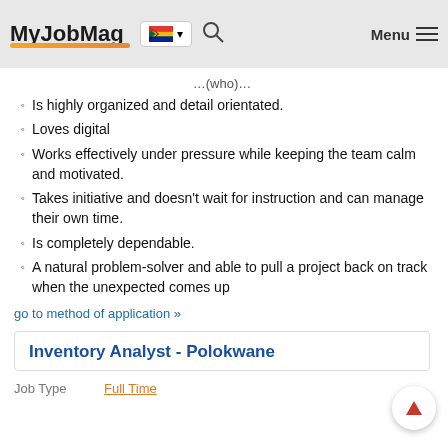MyJobMag
Is highly organized and detail orientated.
Loves digital
Works effectively under pressure while keeping the team calm and motivated.
Takes initiative and doesn't wait for instruction and can manage their own time.
Is completely dependable.
A natural problem-solver and able to pull a project back on track when the unexpected comes up
go to method of application »
Inventory Analyst - Polokwane
| Job Type |  |
| --- | --- |
| Job Type | Full Time |